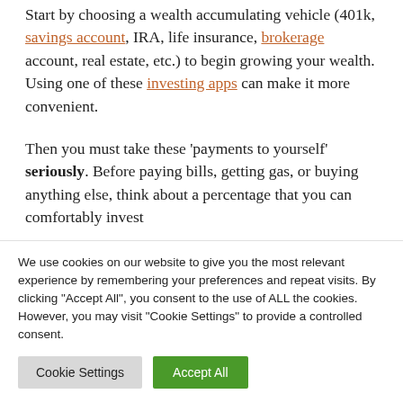Start by choosing a wealth accumulating vehicle (401k, savings account, IRA, life insurance, brokerage account, real estate, etc.) to begin growing your wealth. Using one of these investing apps can make it more convenient.
Then you must take these 'payments to yourself' seriously. Before paying bills, getting gas, or buying anything else, think about a percentage that you can comfortably invest
We use cookies on our website to give you the most relevant experience by remembering your preferences and repeat visits. By clicking "Accept All", you consent to the use of ALL the cookies. However, you may visit "Cookie Settings" to provide a controlled consent.